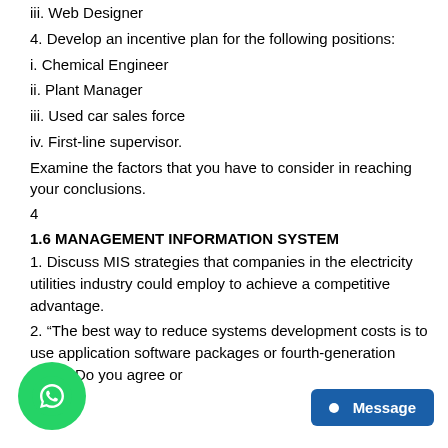iii. Web Designer
4. Develop an incentive plan for the following positions:
i. Chemical Engineer
ii. Plant Manager
iii. Used car sales force
iv. First-line supervisor.
Examine the factors that you have to consider in reaching your conclusions.
4
1.6 MANAGEMENT INFORMATION SYSTEM
1. Discuss MIS strategies that companies in the electricity utilities industry could employ to achieve a competitive advantage.
2. “The best way to reduce systems development costs is to use application software packages or fourth-generation tools”. Do you agree or